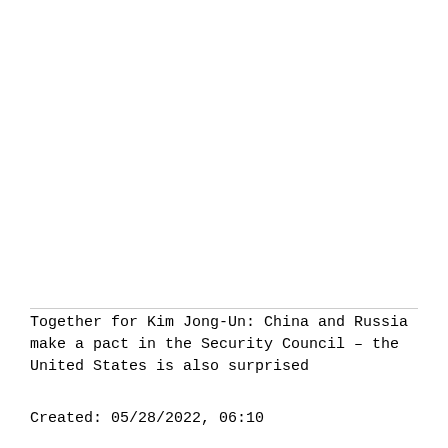Together for Kim Jong-Un: China and Russia make a pact in the Security Council – the United States is also surprised
Created: 05/28/2022, 06:10